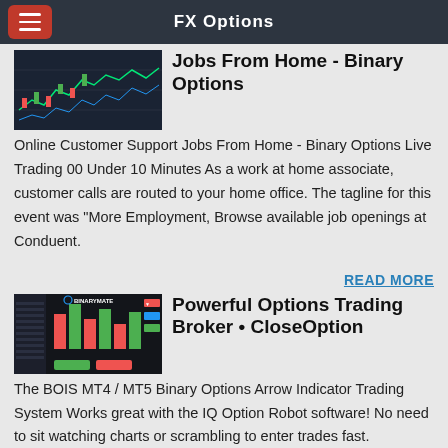FX Options
[Figure (screenshot): Trading platform screenshot showing charts and candlestick data]
Jobs From Home - Binary Options
Online Customer Support Jobs From Home - Binary Options Live Trading 00 Under 10 Minutes As a work at home associate, customer calls are routed to your home office. The tagline for this event was "More Employment, Browse available job openings at Conduent.
READ MORE
[Figure (screenshot): BinaryMate trading platform screenshot with charts and trading interface]
Powerful Options Trading Broker • CloseOption
The BOIS MT4 / MT5 Binary Options Arrow Indicator Trading System Works great with the IQ Option Robot software! No need to sit watching charts or scrambling to enter trades fast.